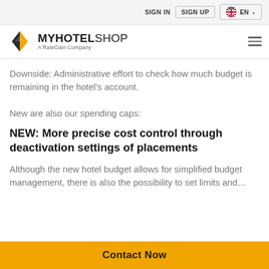SIGN IN  SIGN UP  EN
[Figure (logo): MyHotelShop logo — diamond-shaped yellow and dark grey icon with text MYHOTELSHOP and subtitle A RateGain Company]
Downside: Administrative effort to check how much budget is remaining in the hotel's account.
New are also our spending caps:
NEW: More precise cost control through deactivation settings of placements
Although the new hotel budget allows for simplified budget management, there is also the possibility to set limits and…